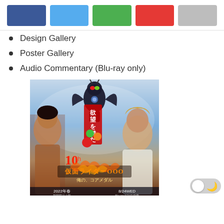[Figure (other): Row of five colored rectangular swatches: dark blue, light blue, green, red, gray]
Design Gallery
Poster Gallery
Audio Commentary (Blu-ray only)
[Figure (photo): Kamen Rider OOO 10th anniversary movie poster showing a masked rider and two actors, with Japanese text '欲望を満たせ！' and '10th 仮面ライダーOOO 俺の、コアメダル', dated 2022年春 and 8/24WED]